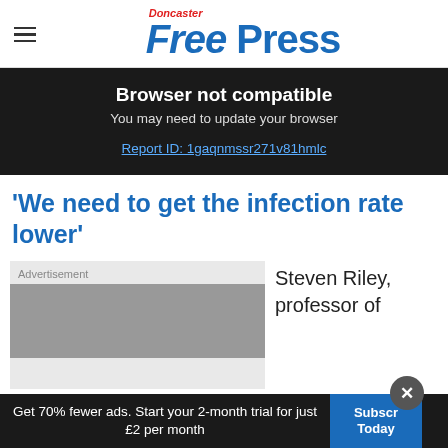Doncaster Free Press
Browser not compatible
You may need to update your browser
Report ID: 1gaqnmssr271v81hmlc
'We need to get the infection rate lower'
[Figure (other): Advertisement placeholder box]
Steven Riley, professor of
Get 70% fewer ads. Start your 2-month trial for just £2 per month
Subscribe Today